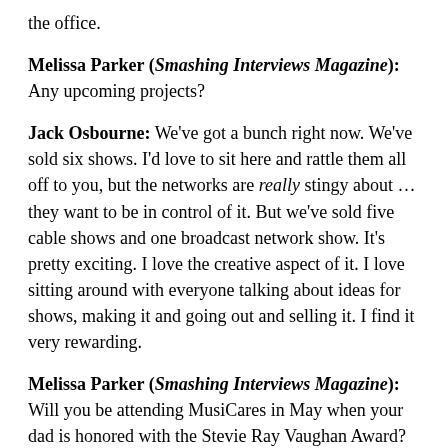the office.
Melissa Parker (Smashing Interviews Magazine): Any upcoming projects?
Jack Osbourne: We've got a bunch right now. We've sold six shows. I'd love to sit here and rattle them all off to you, but the networks are really stingy about … they want to be in control of it. But we've sold five cable shows and one broadcast network show. It's pretty exciting. I love the creative aspect of it. I love sitting around with everyone talking about ideas for shows, making it and going out and selling it. I find it very rewarding.
Melissa Parker (Smashing Interviews Magazine): Will you be attending MusiCares in May when your dad is honored with the Stevie Ray Vaughan Award?
Jack Osbourne: Yeah. I think I'll be there, for sure. I'm